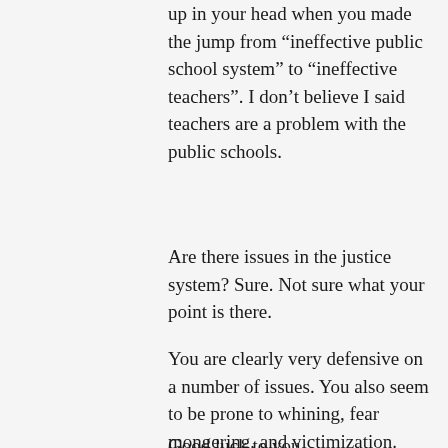up in your head when you made the jump from “ineffective public school system” to “ineffective teachers”. I don’t believe I said teachers are a problem with the public schools.
Are there issues in the justice system? Sure. Not sure what your point is there.
You are clearly very defensive on a number of issues. You also seem to be prone to whining, fear mongering, and victimization.
Good luck to you.